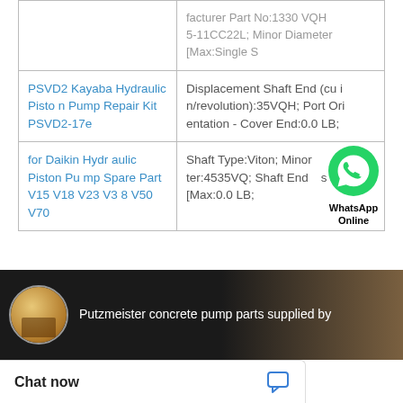| Product | Specifications |
| --- | --- |
| (partial row - top cut off) | facturer Part No: 1330 V QH 5-11CC22L; Minor Diameter [Max:Single S |
| PSVD2 Kayaba Hydraulic Piston Pump Repair Kit PSVD2-17e | Displacement Shaft End (cu in/revolution):35VQH; Port Orientation - Cover End:0.0 LB; |
| for Daikin Hydraulic Piston Pump Spare Part V15 V18 V23 V38 V50 V70 | Shaft Type:Viton; Minor Diameter:4535VQ; Shaft End Pressure [Max:0.0 LB; |
[Figure (other): WhatsApp Online overlay badge with green WhatsApp icon and bold text 'WhatsApp Online']
[Figure (screenshot): Video thumbnail showing 'Putzmeister concrete pump parts supplied by' with a circular company logo icon on dark background]
Chat now